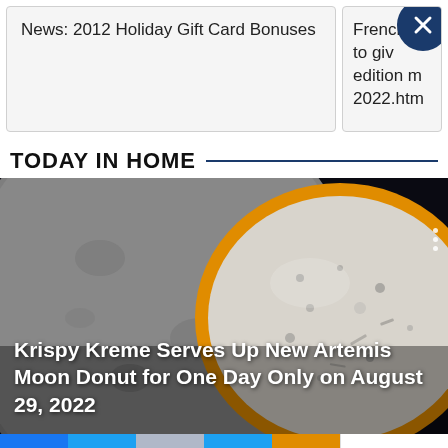News: 2012 Holiday Gift Card Bonuses
Frenchs to give edition m... 2022.htm...
TODAY IN HOME
[Figure (photo): Close-up photo of a Krispy Kreme Artemis Moon Donut — a round donut with gray and white speckled frosting with an orange/yellow ring, resembling the moon, set against a dark space-like background with another large gray sphere visible.]
Krispy Kreme Serves Up New Artemis Moon Donut for One Day Only on August 29, 2022